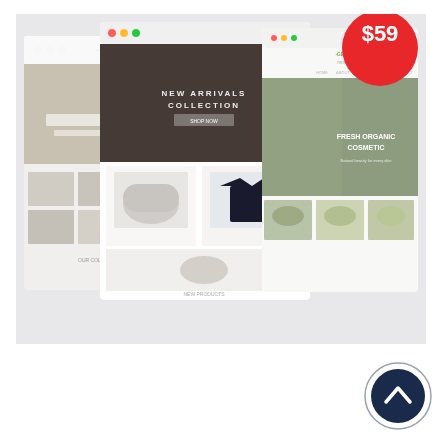[Figure (screenshot): Screenshot composite showing three e-commerce website mockups overlapping each other. Left mockup shows a fashion/lifestyle store. Center mockup shows 'NEW ARRIVALS COLLECTION' with clothing items (beanie hat, t-shirt, handbag). Right mockup shows 'FRESH ORGANIC COSMETIC' website with nature/floral imagery. A red circular badge with '$59' price is visible in the top-right corner of the composite image.]
[Figure (illustration): A dark navy circular back-to-top button with a white upward-pointing chevron arrow, positioned at the bottom-right of the page.]